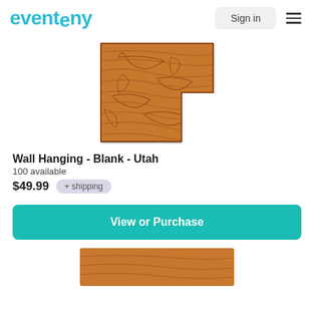eventeny
[Figure (photo): Wood grain textured wall hanging in the shape of the state of Utah, warm brown tones with swirling grain patterns]
Wall Hanging - Blank - Utah
100 available
$49.99 + shipping
View or Purchase
[Figure (photo): Partially visible wood grain wall hanging of another state shape at the bottom of the page]